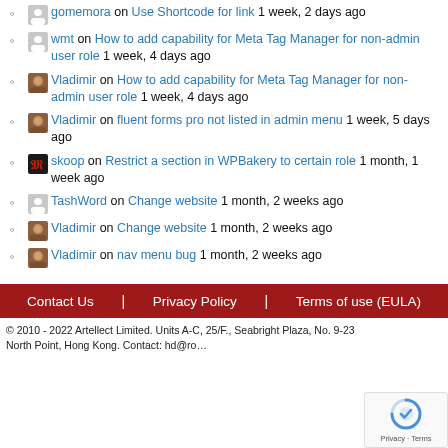gomemora on Use Shortcode for link 1 week, 2 days ago
wmt on How to add capability for Meta Tag Manager for non-admin user role 1 week, 4 days ago
Vladimir on How to add capability for Meta Tag Manager for non-admin user role 1 week, 4 days ago
Vladimir on fluent forms pro not listed in admin menu 1 week, 5 days ago
skoop on Restrict a section in WPBakery to certain role 1 month, 1 week ago
TashWord on Change website 1 month, 2 weeks ago
Vladimir on Change website 1 month, 2 weeks ago
Vladimir on nav menu bug 1 month, 2 weeks ago
Contact Us | Privacy Policy | Terms of use (EULA)
© 2010 - 2022 Artellect Limited. Units A-C, 25/F., Seabright Plaza, No. 9-23 North Point, Hong Kong. Contact: hd@ro...